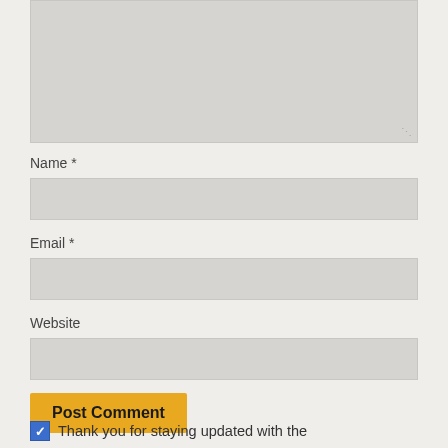[Figure (screenshot): Comment textarea (large text input box, gray background, with resize handle in bottom-right corner)]
Name *
[Figure (screenshot): Name text input field, gray background]
Email *
[Figure (screenshot): Email text input field, gray background]
Website
[Figure (screenshot): Website text input field, gray background]
[Figure (screenshot): Post Comment button, orange/yellow background]
Thank you for staying updated with the